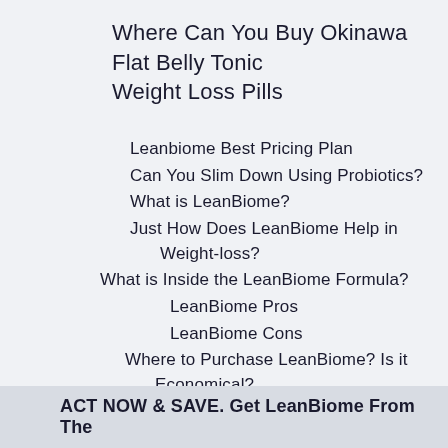Where Can You Buy Okinawa Flat Belly Tonic Weight Loss Pills
Leanbiome Best Pricing Plan
Can You Slim Down Using Probiotics?
What is LeanBiome?
Just How Does LeanBiome Help in Weight-loss?
What is Inside the LeanBiome Formula?
LeanBiome Pros
LeanBiome Cons
Where to Purchase LeanBiome? Is it Economical?
LeanBiome Reimbursement Plan
LeanBiome Final Remarks
ACT NOW & SAVE. Get LeanBiome From The